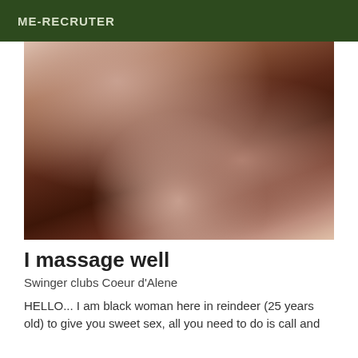ME-RECRUTER
[Figure (photo): Close-up photo of dark skin, appears to be a torso or shoulder area with abstract composition]
I massage well
Swinger clubs Coeur d'Alene
HELLO... I am black woman here in reindeer (25 years old) to give you sweet sex, all you need to do is call and